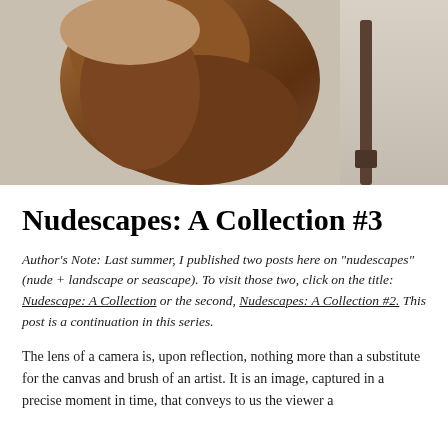[Figure (photo): Close-up photograph of a dark-skinned human torso/back against a light gray surface, with warm brown tones and a vertical rod or bar visible on the right side.]
Nudescapes: A Collection #3
Author's Note: Last summer, I published two posts here on "nudescapes" (nude + landscape or seascape). To visit those two, click on the title: Nudescape: A Collection or the second, Nudescapes: A Collection #2. This post is a continuation in this series.
The lens of a camera is, upon reflection, nothing more than a substitute for the canvas and brush of an artist. It is an image, captured in a precise moment in time, that conveys to us the viewer a